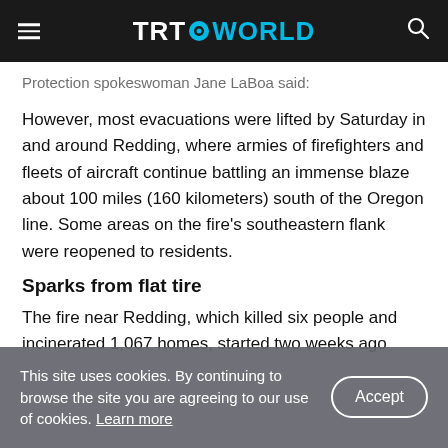TRT WORLD
Protection spokeswoman Jane LaBoa said:
However, most evacuations were lifted by Saturday in and around Redding, where armies of firefighters and fleets of aircraft continue battling an immense blaze about 100 miles (160 kilometers) south of the Oregon line. Some areas on the fire's southeastern flank were reopened to residents.
Sparks from flat tire
The fire near Redding, which killed six people and incinerated 1,067 homes, started two weeks ago
This site uses cookies. By continuing to browse the site you are agreeing to our use of cookies. Learn more